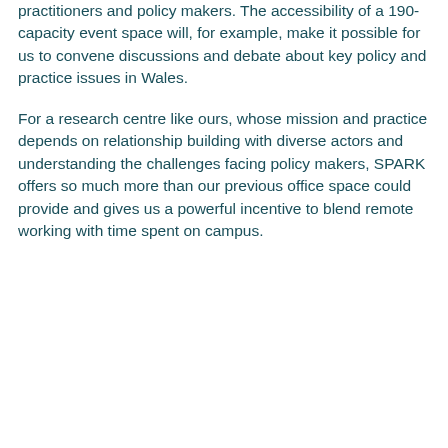practitioners and policy makers. The accessibility of a 190-capacity event space will, for example, make it possible for us to convene discussions and debate about key policy and practice issues in Wales.
For a research centre like ours, whose mission and practice depends on relationship building with diverse actors and understanding the challenges facing policy makers, SPARK offers so much more than our previous office space could provide and gives us a powerful incentive to blend remote working with time spent on campus.